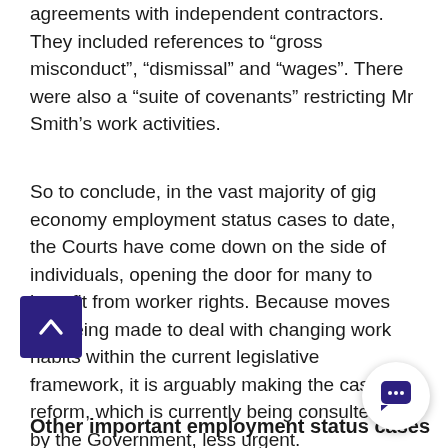agreements with independent contractors. They included references to “gross misconduct”, “dismissal” and “wages”. There were also a “suite of covenants” restricting Mr Smith’s work activities.
So to conclude, in the vast majority of gig economy employment status cases to date, the Courts have come down on the side of individuals, opening the door for many to benefit from worker rights. Because moves are being made to deal with changing work habits within the current legislative framework, it is arguably making the case for reform, which is currently being consulted on by the Government, less urgent.
Other important employment status cases